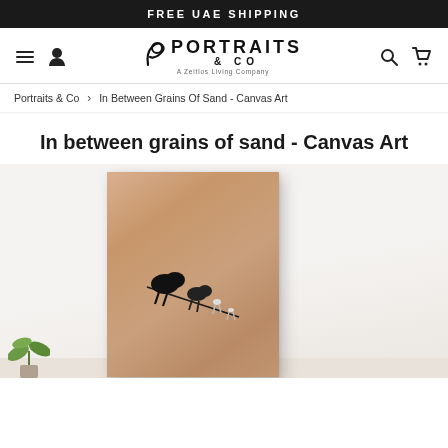FREE UAE SHIPPING
[Figure (screenshot): Portraits & Co navigation bar with hamburger menu, person icon, logo, search and cart icons]
Portraits & Co > In Between Grains Of Sand - Canvas Art
In between grains of sand - Canvas Art
[Figure (photo): Product mockup of canvas art 'In Between Grains Of Sand' showing aerial view of camels crossing a sandy desert, displayed as a framed print in a white room setting with a plant in the corner]